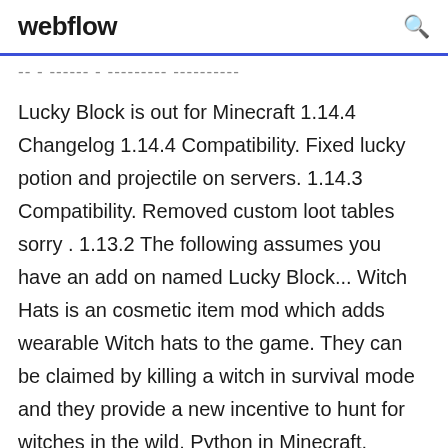webflow
-- - ------ - --------- ----------
Lucky Block is out for Minecraft 1.14.4 Changelog 1.14.4 Compatibility. Fixed lucky potion and projectile on servers. 1.14.3 Compatibility. Removed custom loot tables sorry . 1.13.2 The following assumes you have an add on named Lucky Block... Witch Hats is an cosmetic item mod which adds wearable Witch hats to the game. They can be claimed by killing a witch in survival mode and they provide a new incentive to hunt for witches in the wild. Python in Minecraft. Contribute to r1chardjOn3s/pycode-minecraft development by creating an account on GitHub. Minecraft Creeper Detector: For a couple years, I helped